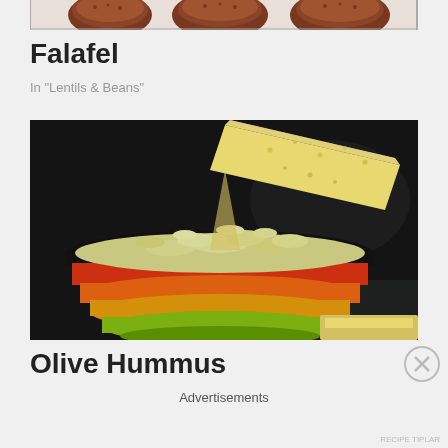[Figure (photo): Partial top image showing fried falafel balls on a white plate, cropped at top of page]
Falafel
In "Lentils & Beans"
[Figure (photo): A colorful striped bowl (black, red, orange, yellow, green stripes) filled with olive hummus, with a large cracker or pita chip being dipped into it, on a dark background]
Olive Hummus
Advertisements